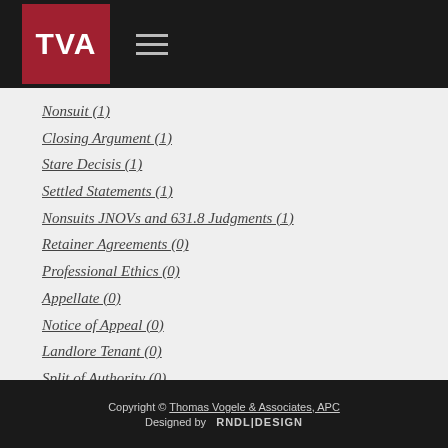TVA [logo] [hamburger menu]
Nonsuit (1)
Closing Argument (1)
Stare Decisis (1)
Settled Statements (1)
Nonsuits JNOVs and 631.8 Judgments (1)
Retainer Agreements (0)
Professional Ethics (0)
Appellate (0)
Notice of Appeal (0)
Landlore Tenant (0)
Split of Authority (0)
No categories Legal Writing (0)
Copyright © Thomas Vogele & Associates, APC Designed by RNDL|DESIGN